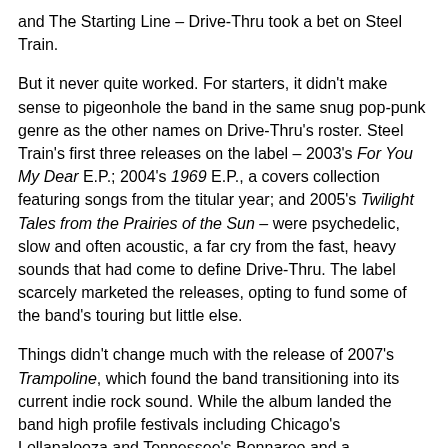and The Starting Line – Drive-Thru took a bet on Steel Train.
But it never quite worked. For starters, it didn't make sense to pigeonhole the band in the same snug pop-punk genre as the other names on Drive-Thru's roster. Steel Train's first three releases on the label – 2003's For You My Dear E.P.; 2004's 1969 E.P., a covers collection featuring songs from the titular year; and 2005's Twilight Tales from the Prairies of the Sun – were psychedelic, slow and often acoustic, a far cry from the fast, heavy sounds that had come to define Drive-Thru. The label scarcely marketed the releases, opting to fund some of the band's touring but little else.
Things didn't change much with the release of 2007's Trampoline, which found the band transitioning into its current indie rock sound. While the album landed the band high profile festivals including Chicago's Lollapalooza and Tennessee's Bonnaroo and a performance on "Late Night with Conan O'Brien," Drive-Thru hardly paid attention to the band post-release, slowing the momentum it had earned with the album.